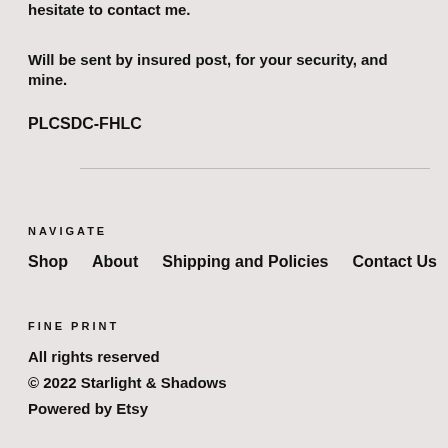hesitate to contact me.
Will be sent by insured post, for your security, and mine.
PLCSDC-FHLC
NAVIGATE
Shop
About
Shipping and Policies
Contact Us
FINE PRINT
All rights reserved
© 2022 Starlight & Shadows
Powered by Etsy